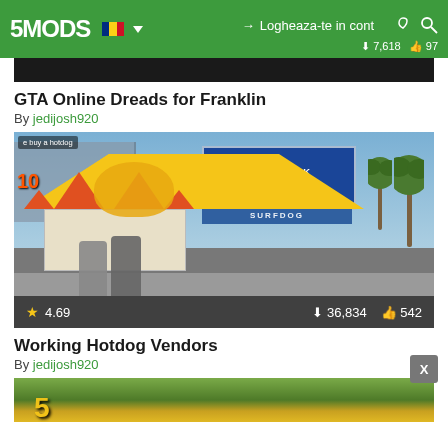5MODS | Logheaza-te in cont | 7,618 downloads | 97 likes
[Figure (screenshot): Dark screenshot strip from GTA mod page (top of previous mod)]
GTA Online Dreads for Franklin
By jedijosh920
[Figure (screenshot): GTA V screenshot showing hotdog vendor stall at Sidewalk Market beach area with two characters. Rating: 4.69 stars, 36,834 downloads, 542 likes.]
Working Hotdog Vendors
By jedijosh920
[Figure (screenshot): Partial screenshot of another GTA mod, showing outdoor grassy area with yellow text]